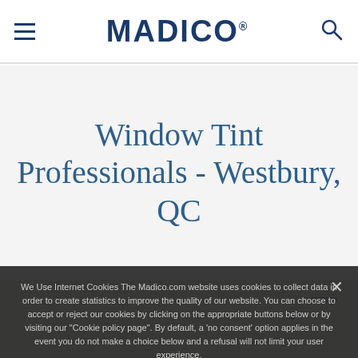MADICO
Window Tint Professionals - Westbury, QC
[Figure (map): A partial street map showing Westbury, QC area]
We Use Internet Cookies The Madico.com website uses cookies to collect data in order to create statistics to improve the quality of our website. You can choose to accept or reject our cookies by clicking on the appropriate buttons below or by visiting our "Cookie policy page". By default, a 'no consent' option applies in the event you do not make a choice below and a refusal will not limit your user experience.
Ok
More Information